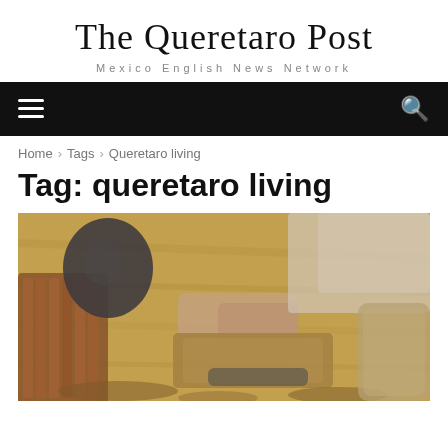The Queretaro Post
Mexico English News Network
Tag: queretaro living
Home › Tags › Queretaro living
[Figure (photo): Overhead view of a person working with leather or craft materials at a wooden table, with cigars and various handcraft tools visible.]